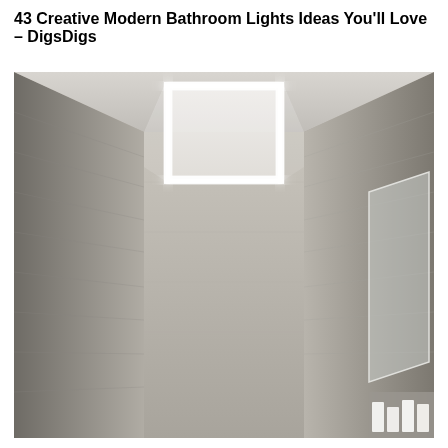43 Creative Modern Bathroom Lights Ideas You'll Love – DigsDigs
[Figure (photo): Interior photo of a modern bathroom showing a coffered ceiling with bright LED strip lighting around the perimeter of a recessed ceiling panel. The walls, floor, and ceiling are clad in light grey/beige marble-look tiles. A mirror is visible on the right side with a small ledge with white candles in the bottom right corner. The perspective is looking upward and forward into the room.]